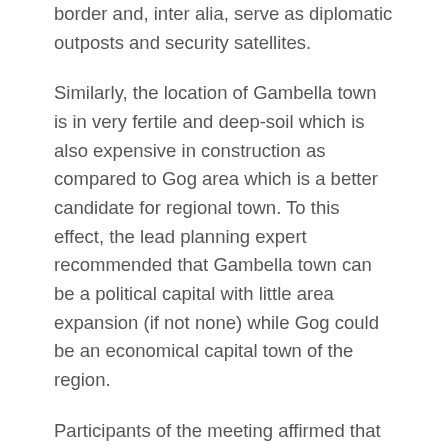border and, inter alia, serve as diplomatic outposts and security satellites.
Similarly, the location of Gambella town is in very fertile and deep-soil which is also expensive in construction as compared to Gog area which is a better candidate for regional town. To this effect, the lead planning expert recommended that Gambella town can be a political capital with little area expansion (if not none) while Gog could be an economical capital town of the region.
Participants of the meeting affirmed that the reported studies were successfully conducted in a balanced manner across the region. The region has the privilege of "the late comer advantage" whereby